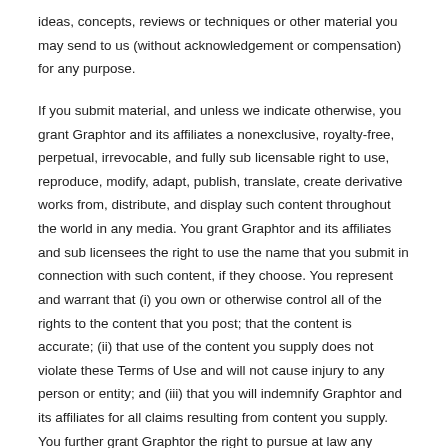ideas, concepts, reviews or techniques or other material you may send to us (without acknowledgement or compensation) for any purpose.
If you submit material, and unless we indicate otherwise, you grant Graphtor and its affiliates a nonexclusive, royalty-free, perpetual, irrevocable, and fully sub licensable right to use, reproduce, modify, adapt, publish, translate, create derivative works from, distribute, and display such content throughout the world in any media. You grant Graphtor and its affiliates and sub licensees the right to use the name that you submit in connection with such content, if they choose. You represent and warrant that (i) you own or otherwise control all of the rights to the content that you post; that the content is accurate; (ii) that use of the content you supply does not violate these Terms of Use and will not cause injury to any person or entity; and (iii) that you will indemnify Graphtor and its affiliates for all claims resulting from content you supply. You further grant Graphtor the right to pursue at law any person or entity that violates your or Graphtor's rights in the material by a breach of these Terms of Use.